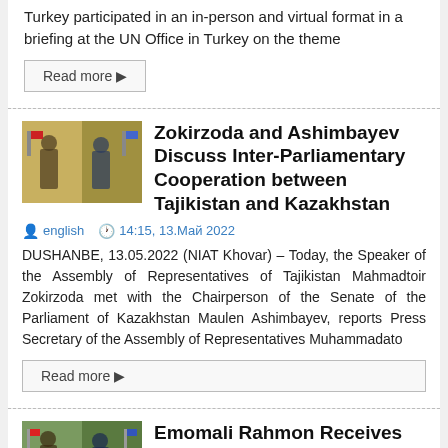Turkey participated in an in-person and virtual format in a briefing at the UN Office in Turkey on the theme
Read more ▶
Zokirzoda and Ashimbayev Discuss Inter-Parliamentary Cooperation between Tajikistan and Kazakhstan
english  14:15, 13.Май 2022
DUSHANBE, 13.05.2022 (NIAT Khovar) – Today, the Speaker of the Assembly of Representatives of Tajikistan Mahmadtoir Zokirzoda met with the Chairperson of the Senate of the Parliament of Kazakhstan Maulen Ashimbayev, reports Press Secretary of the Assembly of Representatives Muhammadato
Read more ▶
Emomali Rahmon Receives Chairman of Senate of Parliament